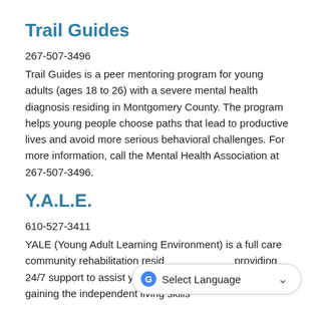Trail Guides
267-507-3496
Trail Guides is a peer mentoring program for young adults (ages 18 to 26) with a severe mental health diagnosis residing in Montgomery County. The program helps young people choose paths that lead to productive lives and avoid more serious behavioral challenges. For more information, call the Mental Health Association at 267-507-3496.
Y.A.L.E.
610-527-3411
YALE (Young Adult Learning Environment) is a full care community rehabilitation resid... providing 24/7 support to assist young adults (ages 18-22) in gaining the independent living skills